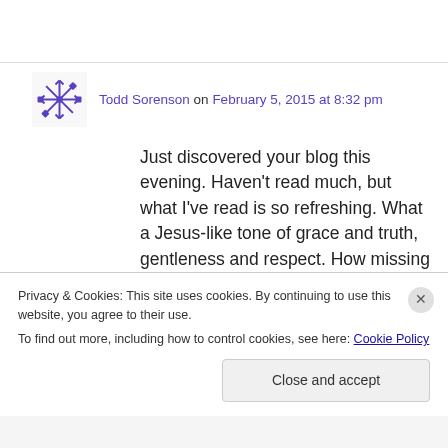Todd Sorenson on February 5, 2015 at 8:32 pm
Just discovered your blog this evening. Haven't read much, but what I've read is so refreshing. What a Jesus-like tone of grace and truth, gentleness and respect. How missing from most public discourse (any side on any issue) that is. How different a tone we could set If we followers of Christ were, like He was, walking with so much love and integrity that what we stood FOR
Privacy & Cookies: This site uses cookies. By continuing to use this website, you agree to their use.
To find out more, including how to control cookies, see here: Cookie Policy